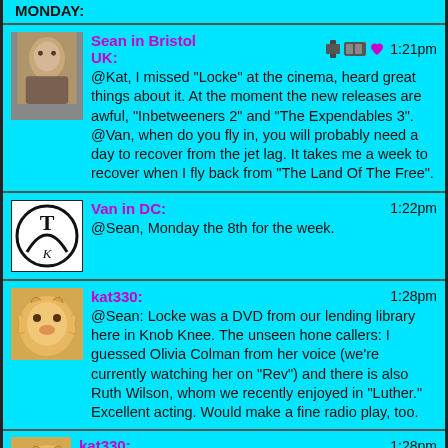MONDAY:
Sean in Bristol UK: @Kat, I missed "Locke" at the cinema, heard great things about it. At the moment the new releases are awful, "Inbetweeners 2" and "The Expendables 3". @Van, when do you fly in, you will probably need a day to recover from the jet lag. It takes me a week to recover when I fly back from "The Land Of The Free". 1:21pm
Van in DC: @Sean, Monday the 8th for the week. 1:22pm
kat330: @Sean: Locke was a DVD from our lending library here in Knob Knee. The unseen hone callers: I guessed Olivia Colman from her voice (we're currently watching her on "Rev") and there is also Ruth Wilson, whom we recently enjoyed in "Luther." Excellent acting. Would make a fine radio play, too. 1:28pm
kat330: "hone" s.b. phone. 1:28pm
kat330: 1:30pm